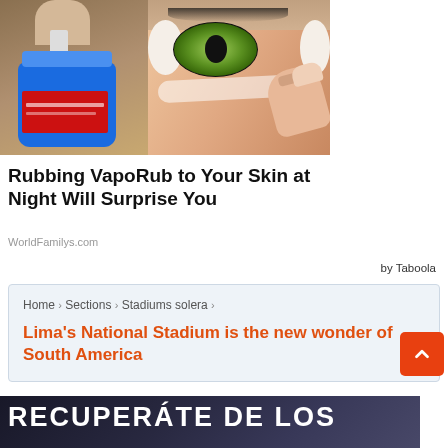[Figure (photo): Advertisement image showing a blue VapoRub jar on the left and a close-up of an eye with cream being applied on the right]
Rubbing VapoRub to Your Skin at Night Will Surprise You
WorldFamilys.com
by Taboola
Home > Sections > Stadiums solera > Lima's National Stadium is the new wonder of South America
[Figure (photo): Bottom banner image with dark background and text RECUPERÁTE DE LOS]